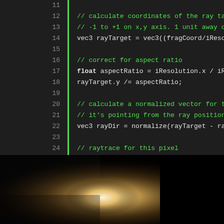Code listing lines 11-33: GLSL ray tracer shader code
[Figure (photo): Rendered raytraced image showing a dark scene with a bright warm glowing light source in the center-left area, and a dark curved shape (sphere silhouette) in the lower right. Background is predominantly black.]